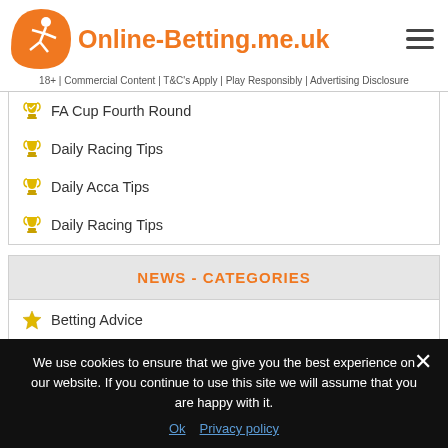Online-Betting.me.uk
18+ | Commercial Content | T&C's Apply | Play Responsibly | Advertising Disclosure
FA Cup Fourth Round
Daily Racing Tips
Daily Acca Tips
Daily Racing Tips
NEWS - CATEGORIES
Betting Advice
Bookmaker News
We use cookies to ensure that we give you the best experience on our website. If you continue to use this site we will assume that you are happy with it.
Ok  Privacy policy